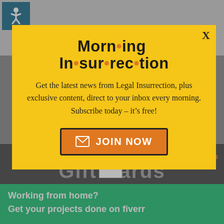l probably see the House vote on a couple of things to make political statements."  Not willing to cut $2.4 trillion without revenue increases.  Says 80% of the American people support a "balanced
[Figure (infographic): Yellow popup modal for Morning Insurrection newsletter subscription with orange JOIN NOW button]
[Figure (screenshot): Gift Cards banner with close button]
Working from home?
Get your projects done on fiverr